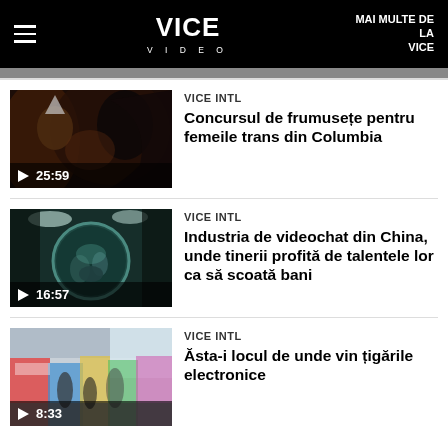VICE VIDEO | MAI MULTE DE LA VICE
[Figure (screenshot): Video thumbnail: two people close together in dim light, one wearing a foil hat. Play button and duration 25:59 shown.]
VICE INTL
Concursul de frumusețe pentru femeile trans din Columbia
[Figure (screenshot): Video thumbnail: circular fisheye view of people in what appears to be a workshop or studio. Play button and duration 16:57 shown.]
VICE INTL
Industria de videochat din China, unde tinerii profită de talentele lor ca să scoată bani
[Figure (screenshot): Video thumbnail: colorful indoor market scene with people. Play button and duration 8:33 shown.]
VICE INTL
Ăsta-i locul de unde vin țigările electronice